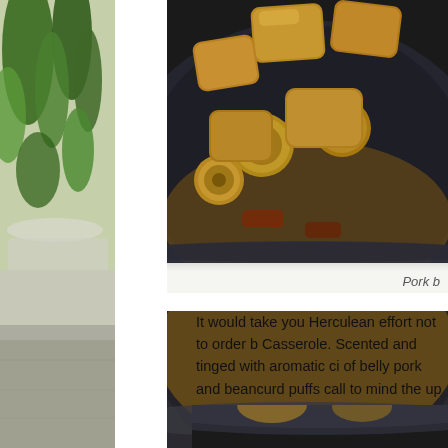[Figure (photo): Left column: partial photo of herbs/greens in a white bowl on a light stone surface, cropped to a narrow strip]
[Figure (photo): Main top photo: dark clay/ceramic bowl filled with golden braised pork belly pieces and mushrooms in sauce, shot from above-side angle]
Pork b
It would take you Herculean effort not to order b Casserole. Scented and tinged with aromatic ci of belly pork and beancurd puffs call to mind the up with. Simple, uncomplicated yet satisfyingly c
[Figure (photo): Partial bottom photo: top edge of another dark ceramic bowl, cropped at bottom of page]